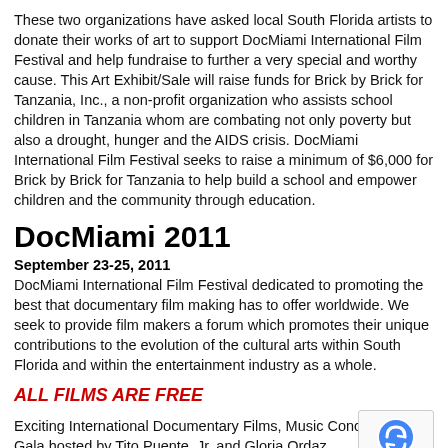These two organizations have asked local South Florida artists to donate their works of art to support DocMiami International Film Festival and help fundraise to further a very special and worthy cause. This Art Exhibit/Sale will raise funds for Brick by Brick for Tanzania, Inc., a non-profit organization who assists school children in Tanzania whom are combating not only poverty but also a drought, hunger and the AIDS crisis. DocMiami International Film Festival seeks to raise a minimum of $6,000 for Brick by Brick for Tanzania to help build a school and empower children and the community through education.
DocMiami 2011
September 23-25, 2011
DocMiami International Film Festival dedicated to promoting the best that documentary film making has to offer worldwide. We seek to provide film makers a forum which promotes their unique contributions to the evolution of the cultural arts within South Florida and within the entertainment industry as a whole.
ALL FILMS ARE FREE
Exciting International Documentary Films, Music Concerts & Gala hosted by Tito Puente, Jr. and Gloria Ordaz. Official Website Facebook Evite